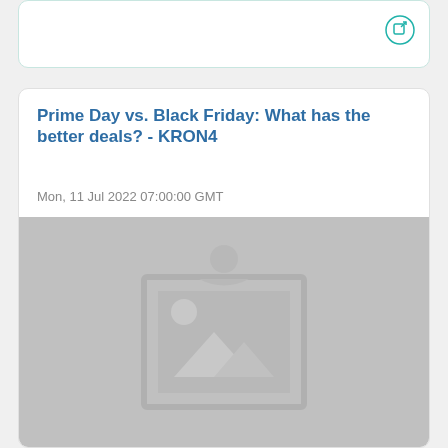[Figure (screenshot): Partially visible top card with a teal external link icon in the upper right corner]
Prime Day vs. Black Friday: What has the better deals? - KRON4
Mon, 11 Jul 2022 07:00:00 GMT
[Figure (photo): Gray placeholder image with a generic image/photo icon in the center]